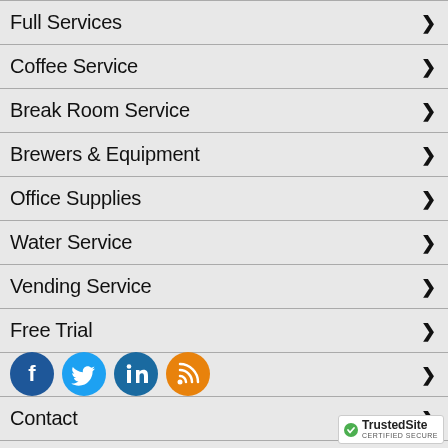Full Services
Coffee Service
Break Room Service
Brewers & Equipment
Office Supplies
Water Service
Vending Service
Free Trial
Blog
Contact
[Figure (illustration): Social media icons: Facebook (dark blue), Twitter (light blue), LinkedIn (dark blue), RSS feed (orange)]
[Figure (logo): TrustedSite Certified Secure badge]